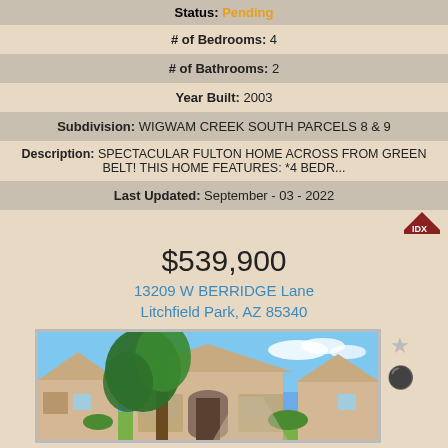Status: Pending
# of Bedrooms: 4
# of Bathrooms: 2
Year Built: 2003
Subdivision: WIGWAM CREEK SOUTH PARCELS 8 & 9
Description: SPECTACULAR FULTON HOME ACROSS FROM GREEN BELT! THIS HOME FEATURES: *4 BEDR...
Last Updated: September - 03 - 2022
$539,900
13209 W BERRIDGE Lane Litchfield Park, AZ 85340
[Figure (photo): Exterior photo of a tan stucco single-family home with a prominent tree in front, blue sky background, two-car garage visible.]